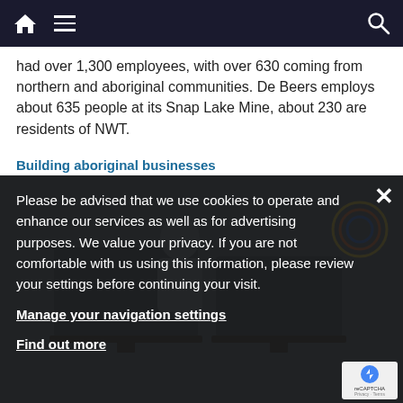Navigation bar with home icon, menu icon, and search icon
had over 1,300 employees, with over 630 coming from northern and aboriginal communities. De Beers employs about 635 people at its Snap Lake Mine, about 230 are residents of NWT.
Building aboriginal businesses
[Figure (photo): Dark background photo of a person working at a computer desk with monitors, partially visible through the cookie notice overlay]
Please be advised that we use cookies to operate and enhance our services as well as for advertising purposes. We value your privacy. If you are not comfortable with us using this information, please review your settings before continuing your visit.
Manage your navigation settings
Find out more